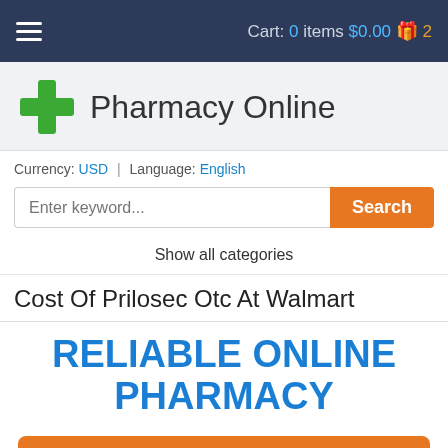Cart: 0 items $0.00 2
Pharmacy Online
Currency: USD | Language: English
Show all categories
Cost Of Prilosec Otc At Walmart
RELIABLE ONLINE PHARMACY
> Click here to order now